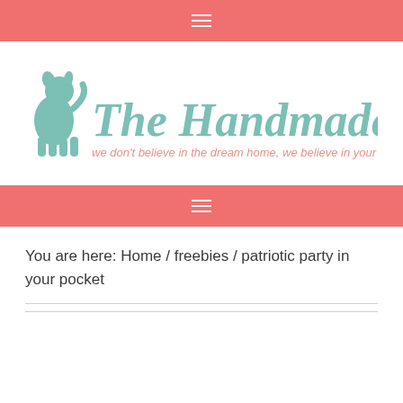Navigation bar (hamburger menu)
[Figure (logo): The Handmade Home logo with a dog silhouette and teal text reading 'The Handmade Home' with tagline 'we don't believe in the dream home, we believe in your home.']
Navigation bar (hamburger menu)
You are here: Home / freebies / patriotic party in your pocket